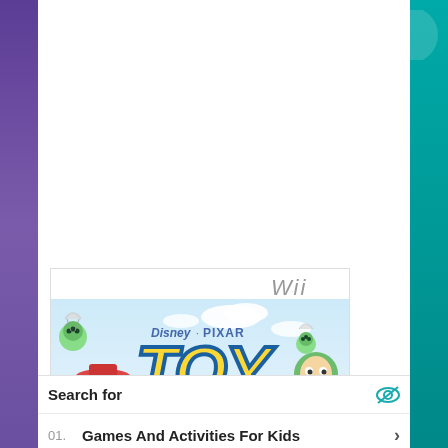[Figure (screenshot): Nintendo Wii Disney Pixar Toy Story game cover showing Jessie, Buzz Lightyear, and alien characters with the Wii logo and Disney Pixar branding]
Search for
01. Games And Activities For Kids
02. Best Deals On Nintendo Wii
Yahoo! Search | Sponsored